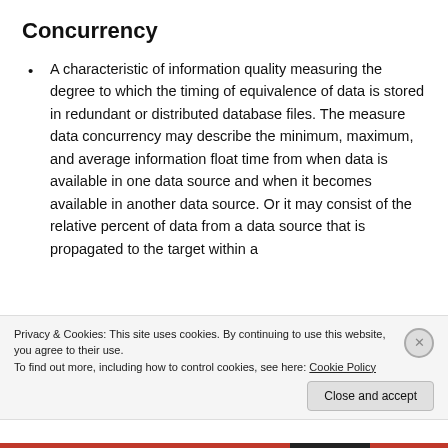Concurrency
A characteristic of information quality measuring the degree to which the timing of equivalence of data is stored in redundant or distributed database files. The measure data concurrency may describe the minimum, maximum, and average information float time from when data is available in one data source and when it becomes available in another data source. Or it may consist of the relative percent of data from a data source that is propagated to the target within a
Privacy & Cookies: This site uses cookies. By continuing to use this website, you agree to their use.
To find out more, including how to control cookies, see here: Cookie Policy
Close and accept